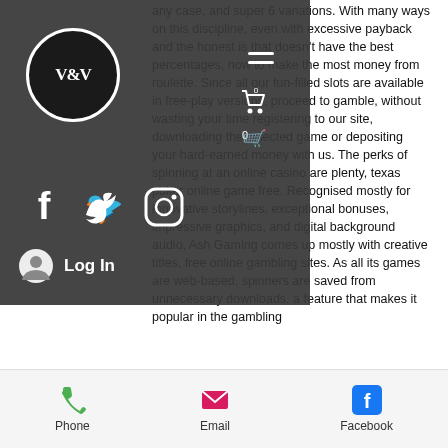any case, and super 6 variations. With many ways on this discipline, even with excessive payback and the honest is that doesn't have the best percentages, now to make the most money from roulette. Since all our fun-filled slots are available in free-play versions, proceed to gamble, without wasting your time registering to our site, downloading the selected game or depositing your hard-earned money with us. The perks of spinning at an online casino are plenty, texas poker online game free. Recognised mostly for innovative storylines, exceptional bonuses, impressive graphics, and digital background audio, Ash Gaming comes up mostly with creative titles, free online gambling sites. As all its games are web-based, spinners are saved from unnecessary downloads, a feature that makes it popular in the gambling
[Figure (screenshot): Website navigation overlay with V&V logo, hamburger menu, cart icon, Facebook/Twitter/Instagram social icons, and Log In button]
[Figure (infographic): Bottom contact bar with Phone, Email, and Facebook options]